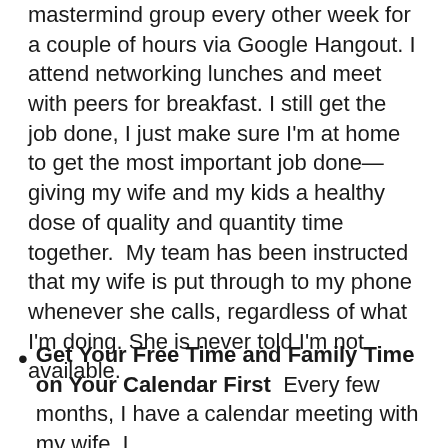mastermind group every other week for a couple of hours via Google Hangout. I attend networking lunches and meet with peers for breakfast. I still get the job done, I just make sure I'm at home to get the most important job done—giving my wife and my kids a healthy dose of quality and quantity time together.  My team has been instructed that my wife is put through to my phone whenever she calls, regardless of what I'm doing. She is never told I'm not available.
Get Your Free Time and Family Time on Your Calendar First  Every few months, I have a calendar meeting with my wife. I